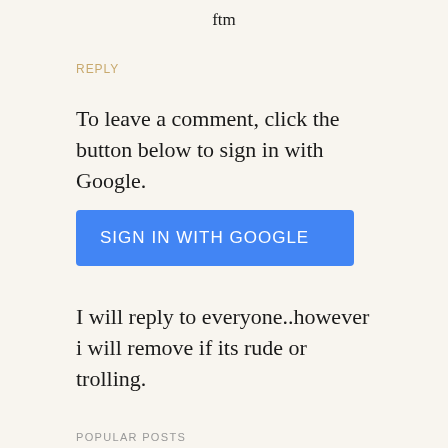ftm
REPLY
To leave a comment, click the button below to sign in with Google.
[Figure (other): Blue 'SIGN IN WITH GOOGLE' button]
I will reply to everyone..however i will remove if its rude or trolling.
POPULAR POSTS
[Figure (other): Popular post card with date August 17, 2021 on a light pink/peach background]